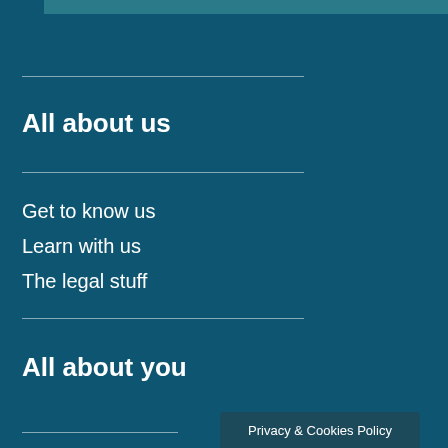[Figure (photo): Partial image strip at top of page]
All about us
Get to know us
Learn with us
The legal stuff
All about you
Privacy & Cookies Policy